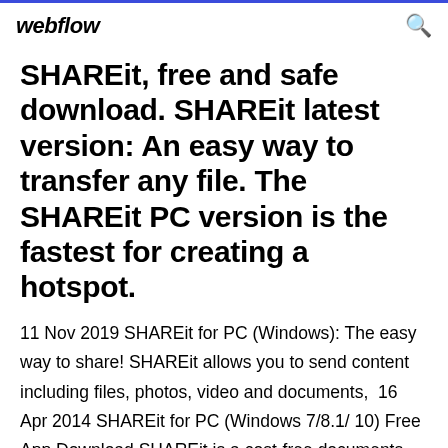webflow
SHAREit, free and safe download. SHAREit latest version: An easy way to transfer any file. The SHAREit PC version is the fastest for creating a hotspot.
11 Nov 2019 SHAREit for PC (Windows): The easy way to share! SHAREit allows you to send content including files, photos, video and documents,  16 Apr 2014 SHAREit for PC (Windows 7/8.1/ 10) Free App Download SHAREit is a cost-free documents sharing application that aids to move files in a flash  12 Dec 2013 ...